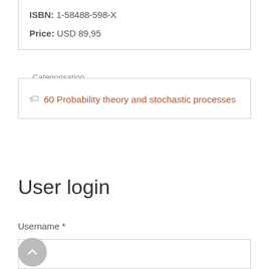ISBN: 1-58488-598-X
Price: USD 89,95
Categorisation
60 Probability theory and stochastic processes
User login
Username *